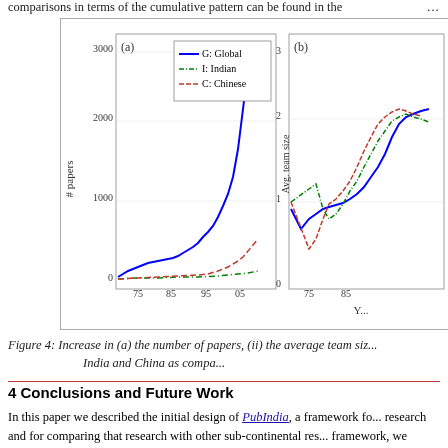comparisons in terms of the cumulative pattern can be found in the ...
[Figure (line-chart): Two sub-charts: (a) number of papers over years for Global, Indian, Chinese; (b) average team size over years]
Figure 4: Increase in (a) the number of papers, (ii) the average team size ... India and China as compa...
4 Conclusions and Future Work
In this paper we described the initial design of PubIndia, a framework fo... research and for comparing that research with other sub-continental res... framework, we particularly focused on the papers related to Natural La... and Chinese researchers with each other, and with global researchers. ... different keywords over the years. While comparing the topical alignme... research is mostly correlated with global research.